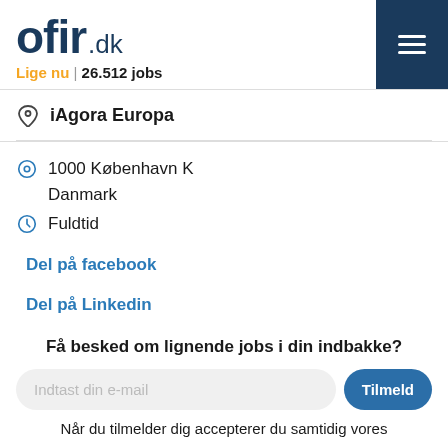[Figure (logo): ofir.dk logo with tagline 'Lige nu | 26.512 jobs' and hamburger menu button on dark blue background]
iAgora Europa
1000 København K
Danmark
Fuldtid
Del på facebook
Del på Linkedin
Få besked om lignende jobs i din indbakke?
Indtast din e-mail
Tilmeld
Når du tilmelder dig accepterer du samtidig vores